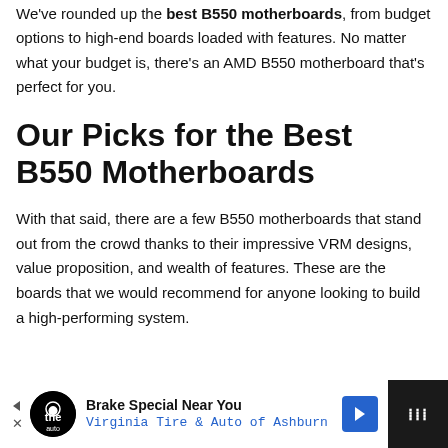We've rounded up the best B550 motherboards, from budget options to high-end boards loaded with features. No matter what your budget is, there's an AMD B550 motherboard that's perfect for you.
Our Picks for the Best B550 Motherboards
With that said, there are a few B550 motherboards that stand out from the crowd thanks to their impressive VRM designs, value proposition, and wealth of features. These are the boards that we would recommend for anyone looking to build a high-performing system.
[Figure (other): Advertisement banner at the bottom: Brake Special Near You - Virginia Tire & Auto of Ashburn]